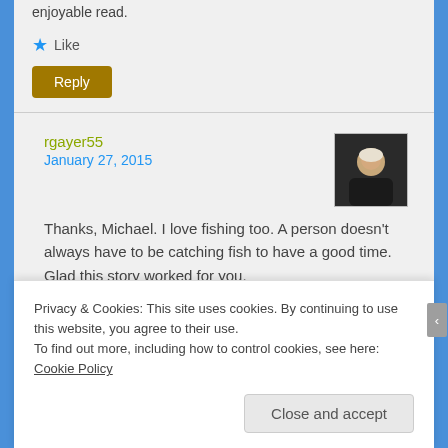enjoyable read.
★ Like
Reply
rgayer55
January 27, 2015
Thanks, Michael. I love fishing too. A person doesn't always have to be catching fish to have a good time. Glad this story worked for you.
Privacy & Cookies: This site uses cookies. By continuing to use this website, you agree to their use.
To find out more, including how to control cookies, see here: Cookie Policy
Close and accept